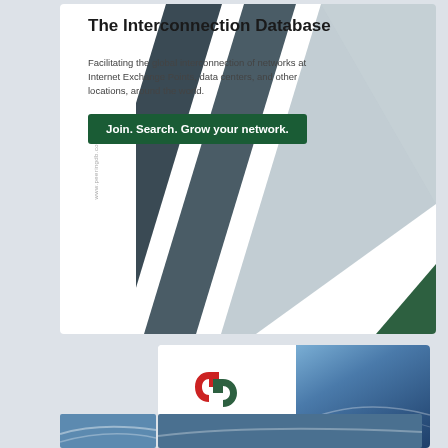[Figure (illustration): PeeringDB advertisement card. White background with diagonal geometric stripe design in grey, dark grey, and green on the right side. Contains title 'The Interconnection Database', subtitle text, and a dark green CTA button. Vertical URL text on left edge.]
The Interconnection Database
Facilitating the global interconnection of networks at Internet Exchange Points, data centers, and other locations, around the world.
Join. Search. Grow your network.
[Figure (logo): DE-CIX logo: red and dark green interlocking G-shaped arrows, with text 'DE CIX' below in bold dark letters. Adjacent blue gradient panel.]